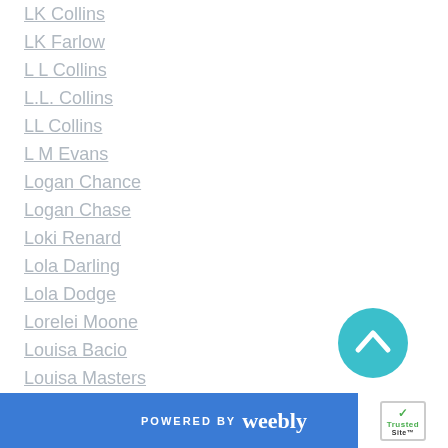LK Collins
LK Farlow
L L Collins
L.L. Collins
LL Collins
L M Evans
Logan Chance
Logan Chase
Loki Renard
Lola Darling
Lola Dodge
Lorelei Moone
Louisa Bacio
Louisa Masters
L P Dover
L.P. Dover
LP Dover
[Figure (other): Teal circular scroll-to-top button with upward chevron arrow]
POWERED BY weebly | TrustedSite